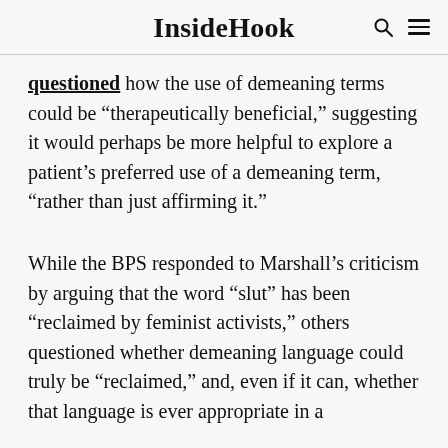InsideHook
questioned how the use of demeaning terms could be “therapeutically beneficial,” suggesting it would perhaps be more helpful to explore a patient’s preferred use of a demeaning term, “rather than just affirming it.”
While the BPS responded to Marshall’s criticism by arguing that the word “slut” has been “reclaimed by feminist activists,” others questioned whether demeaning language could truly be “reclaimed,” and, even if it can, whether that language is ever appropriate in a